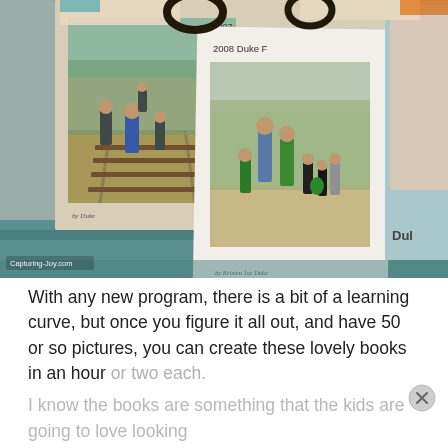[Figure (photo): A collection of photo books/yearbooks displayed on a surface. The center book titled '2008 Duke' shows a family photo of a couple with children dressed in green on a path. The left book shows family members on railroad tracks. A partial right book is visible. A carabiner clip is visible at the top. Watermark reads 'Capturing-Joy.com'.]
With any new program, there is a bit of a learning curve, but once you figure it all out, and have 50 or so pictures, you can create these lovely books in an hour or two each.
I know the books are something that the kids are going to love looking